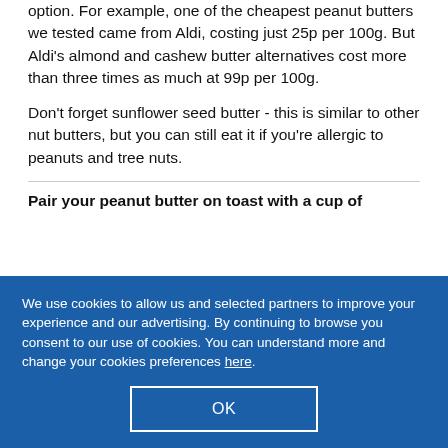option. For example, one of the cheapest peanut butters we tested came from Aldi, costing just 25p per 100g. But Aldi's almond and cashew butter alternatives cost more than three times as much at 99p per 100g.
Don't forget sunflower seed butter - this is similar to other nut butters, but you can still eat it if you're allergic to peanuts and tree nuts.
Pair your peanut butter on toast with a cup of
We use cookies to allow us and selected partners to improve your experience and our advertising. By continuing to browse you consent to our use of cookies. You can understand more and change your cookies preferences here.